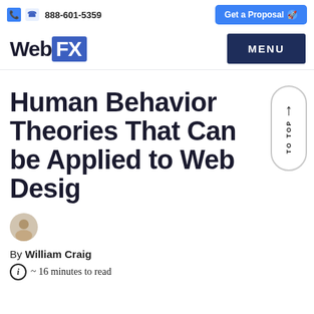888-601-5359   Get a Proposal
WebFX  MENU
Human Behavior Theories That Can be Applied to Web Design
By William Craig
~ 16 minutes to read